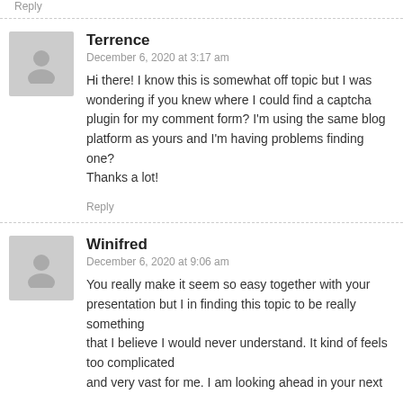Reply
Terrence
December 6, 2020 at 3:17 am
Hi there! I know this is somewhat off topic but I was wondering if you knew where I could find a captcha plugin for my comment form? I'm using the same blog platform as yours and I'm having problems finding one?
Thanks a lot!
Reply
Winifred
December 6, 2020 at 9:06 am
You really make it seem so easy together with your presentation but I in finding this topic to be really something
that I believe I would never understand. It kind of feels too complicated
and very vast for me. I am looking ahead in your next